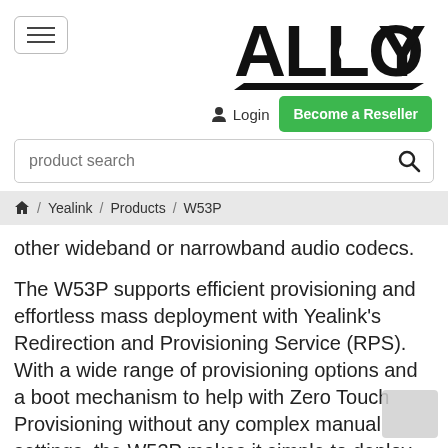[Figure (logo): Alloy company logo in bold black text with stylized lettering]
Login
Become a Reseller
product search
/ Yealink / Products / W53P
other wideband or narrowband audio codecs.
The W53P supports efficient provisioning and effortless mass deployment with Yealink's Redirection and Provisioning Service (RPS). With a wide range of provisioning options and a boot mechanism to help with Zero Touch Provisioning without any complex manual settings, the W53P makes it simple to deploy, easy to maintain and upgrade, saving even more time and IT costs for businesses.